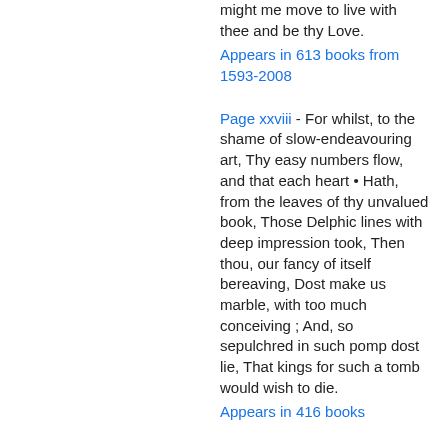might me move to live with thee and be thy Love.
Appears in 613 books from 1593-2008
Page xxviii - For whilst, to the shame of slow-endeavouring art, Thy easy numbers flow, and that each heart • Hath, from the leaves of thy unvalued book, Those Delphic lines with deep impression took, Then thou, our fancy of itself bereaving, Dost make us marble, with too much conceiving ; And, so sepulchred in such pomp dost lie, That kings for such a tomb would wish to die.
Appears in 416 books